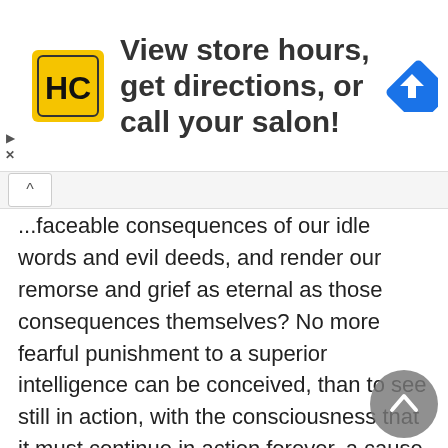[Figure (screenshot): Ad banner for a hair salon service showing HC logo in yellow, text 'View store hours, get directions, or call your salon!' and a blue navigation arrow icon. Small play and close icons on the left side.]
...faceable consequences of our idle words and evil deeds, and render our remorse and grief as eternal as those consequences themselves? No more fearful punishment to a superior intelligence can be conceived, than to see still in action, with the consciousness that it must continue in action forever, a cause of wrong put in motion by itself ages before.
Masonry, by its teachings, endeavors to restrain men from the commission of injustice and acts of wrong and outrage. Though it does not endeavor to usurp the place of religion, still its code of morals